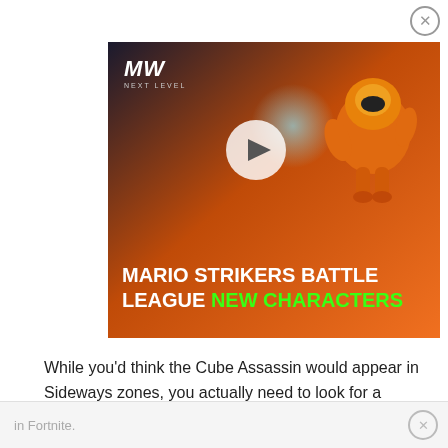[Figure (other): Advertisement banner for Mario Strikers Battle League New Characters, showing a game character in orange armor, MW Next Level logo, and a play button on orange/dark background]
While you’d think the Cube Assassin would appear in Sideways zones, you actually need to look for a different type of entry into the Sideways. To explain further, we’ve put together a guide on where to find the Cube Assassin in Fortnite.